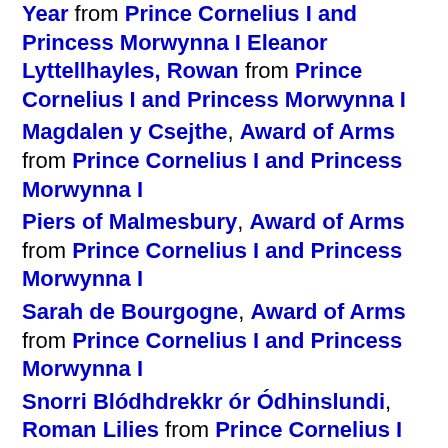Year from Prince Cornelius I and Princess Morwynna I Eleanor Lyttellhayles, Rowan from Prince Cornelius I and Princess Morwynna I
Magdalen y Csejthe, Award of Arms from Prince Cornelius I and Princess Morwynna I
Piers of Malmesbury, Award of Arms from Prince Cornelius I and Princess Morwynna I
Sarah de Bourgogne, Award of Arms from Prince Cornelius I and Princess Morwynna I
Snorri Blódhdrekkr ór Ódhinslundi, Roman Lilies from Prince Cornelius I and Princess Morwynna I
Please check this information and use the Fix Me button () to notify the Canon Herald of